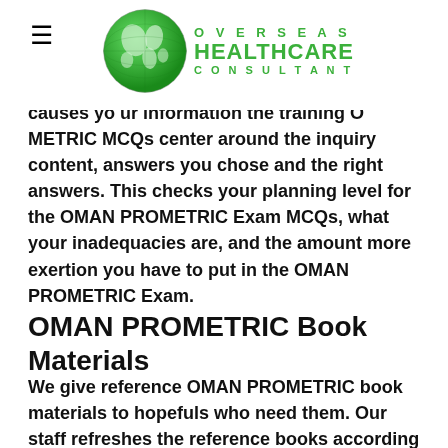≡ OVERSEAS HEALTHCARE CONSULTANT [logo globe]
causes you to refresh your information the training O…METRIC MCQs center around the inquiry content, answers you chose and the right answers. This checks your planning level for the OMAN PROMETRIC Exam MCQs, what your inadequacies are, and the amount more exertion you have to put in the OMAN PROMETRIC Exam.
OMAN PROMETRIC Book Materials
We give reference OMAN PROMETRIC book materials to hopefuls who need them. Our staff refreshes the reference books according to the